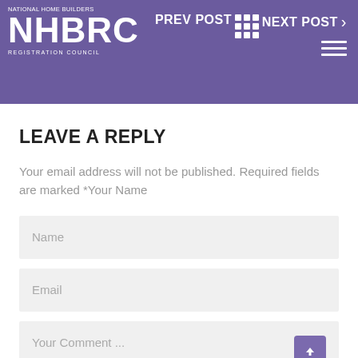NHBRC NATIONAL HOME BUILDERS REGISTRATION COUNCIL — PREV POST | NEXT POST
LEAVE A REPLY
Your email address will not be published. Required fields are marked *Your Name
Name
Email
Your Comment ...